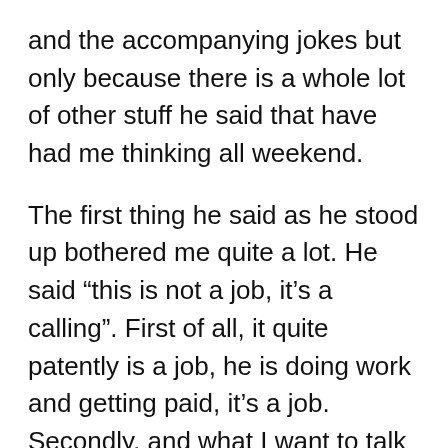and the accompanying jokes but only because there is a whole lot of other stuff he said that have had me thinking all weekend.
The first thing he said as he stood up bothered me quite a lot. He said “this is not a job, it’s a calling”. First of all, it quite patently is a job, he is doing work and getting paid, it’s a job. Secondly, and what I want to talk about more fully, is this notion of calling and that somehow ministers have a more important (louder) calling than the rest of us.
Consider your average minister in the church,